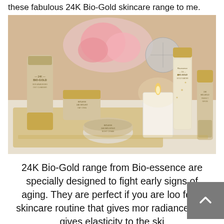these fabulous 24K Bio-Gold skincare range to me.
[Figure (photo): Flat lay photo of Bio-essence 24K Bio-Gold skincare products including a cleanser tube, day cream jar, night cream jar, gold water bottle, and a serum, arranged on a reflective tray with a lit candle and pink roses in the background.]
24K Bio-Gold range from Bio-essence are specially designed to fight early signs of aging. They are perfect if you are loo for a skincare routine that gives mor radiance and gives elasticity to the ski